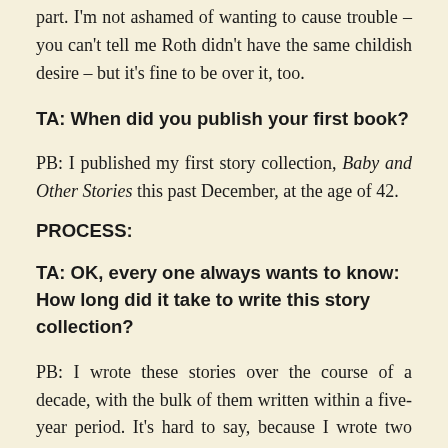part. I'm not ashamed of wanting to cause trouble – you can't tell me Roth didn't have the same childish desire – but it's fine to be over it, too.
TA: When did you publish your first book?
PB: I published my first story collection, Baby and Other Stories this past December, at the age of 42.
PROCESS:
TA: OK, every one always wants to know: How long did it take to write this story collection?
PB: I wrote these stories over the course of a decade, with the bulk of them written within a five-year period. It's hard to say, because I wrote two other novels and a